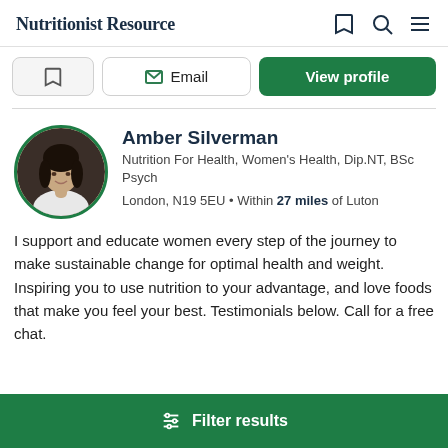Nutritionist Resource
Email | View profile (action buttons)
[Figure (photo): Circular profile photo of Amber Silverman, a woman with dark hair wearing a white top, against a dark background]
Amber Silverman
Nutrition For Health, Women's Health, Dip.NT, BSc Psych
London, N19 5EU • Within 27 miles of Luton
I support and educate women every step of the journey to make sustainable change for optimal health and weight. Inspiring you to use nutrition to your advantage, and love foods that make you feel your best. Testimonials below. Call for a free chat.
Filter results